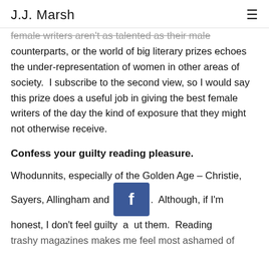J.J. Marsh
female writers aren't as talented as their male counterparts, or the world of big literary prizes echoes the under-representation of women in other areas of society.  I subscribe to the second view, so I would say this prize does a useful job in giving the best female writers of the day the kind of exposure that they might not otherwise receive.
Confess your guilty reading pleasure.
Whodunnits, especially of the Golden Age – Christie, Sayers, Allingham and [blocked].  Although, if I'm honest, I don't feel guilty about them.  Reading trashy magazines makes me feel most ashamed of